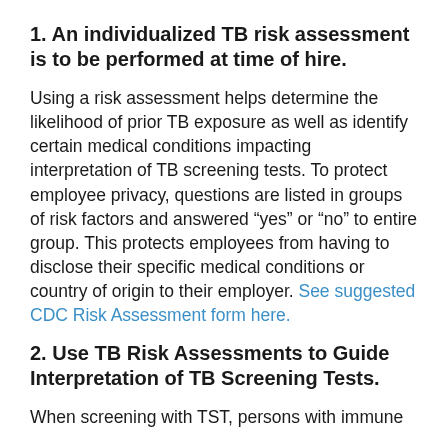1. An individualized TB risk assessment is to be performed at time of hire.
Using a risk assessment helps determine the likelihood of prior TB exposure as well as identify certain medical conditions impacting interpretation of TB screening tests. To protect employee privacy, questions are listed in groups of risk factors and answered “yes” or “no” to entire group. This protects employees from having to disclose their specific medical conditions or country of origin to their employer. See suggested CDC Risk Assessment form here.
2. Use TB Risk Assessments to Guide Interpretation of TB Screening Tests.
When screening with TST, persons with immune